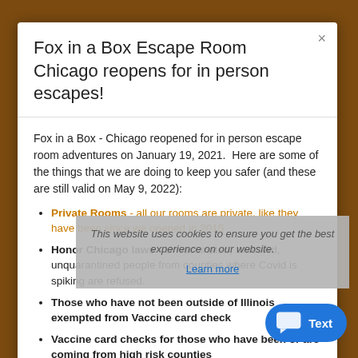Fox in a Box Escape Room Chicago reopens for in person escapes!
Fox in a Box - Chicago reopened for in person escape room adventures on January 19, 2021.  Here are some of the things that we are doing to keep you safer (and these are still valid on May 9, 2022):
Private Rooms - all our rooms are private, like they have been since we opened in 2015
Honor Chicago laws - Unvaccinated, untested, unquarantined people from counties where Covid is spiking are refused.
Those who have not been outside of Illinois exempted from Vaccine card check
Vaccine card checks for those who have been or are coming from high risk counties
Extra time for disinfection - We disinfect the room between every game
Large Open Air Atrium for those who arrive
This website uses cookies to ensure you get the best experience on our website.
Learn more